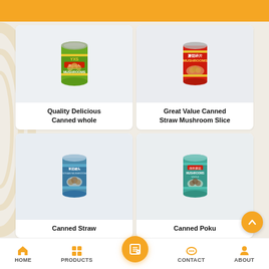[Figure (screenshot): Orange header banner at top of mobile product listing page]
[Figure (photo): Canned whole mushrooms product - green can with YXS branding and mushrooms label]
Quality Delicious
Canned whole
[Figure (photo): Canned straw mushroom slice product - red can with Chinese text and MUSHROOMS label]
Great Value Canned
Straw Mushroom Slice
[Figure (photo): Canned straw mushroom product - blue/teal can with mushroom image]
Canned Straw
[Figure (photo): Canned Poku mushroom product - teal green can with MUSHROOMS label]
Canned Poku
HOME  PRODUCTS  CONTACT  ABOUT